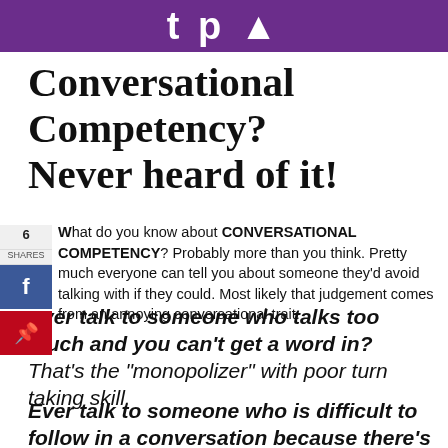tpo
Conversational Competency? Never heard of it!
What do you know about CONVERSATIONAL COMPETENCY? Probably more than you think. Pretty much everyone can tell you about someone they'd avoid talking with if they could. Most likely that judgement comes from an annoying conversational trait.
Ever talk to someone who talks too much and you can't get a word in? That's the "monopolizer" with poor turn taking skill.
Ever talk to someone who is difficult to follow in a conversation because there's